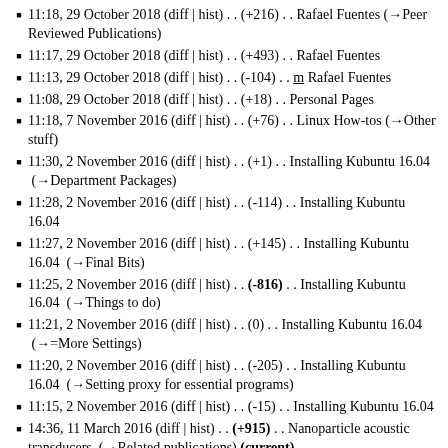11:18, 29 October 2018 (diff | hist) . . (+216) . . Rafael Fuentes (→Peer Reviewed Publications)
11:17, 29 October 2018 (diff | hist) . . (+493) . . Rafael Fuentes
11:13, 29 October 2018 (diff | hist) . . (-104) . . m Rafael Fuentes
11:08, 29 October 2018 (diff | hist) . . (+18) . . Personal Pages
11:18, 7 November 2016 (diff | hist) . . (+76) . . Linux How-tos (→Other stuff)
11:30, 2 November 2016 (diff | hist) . . (+1) . . Installing Kubuntu 16.04 (→Department Packages)
11:28, 2 November 2016 (diff | hist) . . (-114) . . Installing Kubuntu 16.04
11:27, 2 November 2016 (diff | hist) . . (+145) . . Installing Kubuntu 16.04 (→Final Bits)
11:25, 2 November 2016 (diff | hist) . . (-816) . . Installing Kubuntu 16.04 (→Things to do)
11:21, 2 November 2016 (diff | hist) . . (0) . . Installing Kubuntu 16.04 (→=More Settings)
11:20, 2 November 2016 (diff | hist) . . (-205) . . Installing Kubuntu 16.04 (→Setting proxy for essential programs)
11:15, 2 November 2016 (diff | hist) . . (-15) . . Installing Kubuntu 16.04
14:36, 11 March 2016 (diff | hist) . . (+915) . . Nanoparticle acoustic transducers (→Related publications) (current)
14:29, 11 March 2016 (diff | hist) . . (+17) . . Nanoparticle